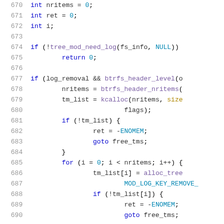[Figure (screenshot): Source code listing lines 670-690 in C, showing variable declarations, conditional checks using tree_mod_need_log, btrfs_header_level, memory allocation with kcalloc, and a for loop with alloc_tree_mod_elem calls.]